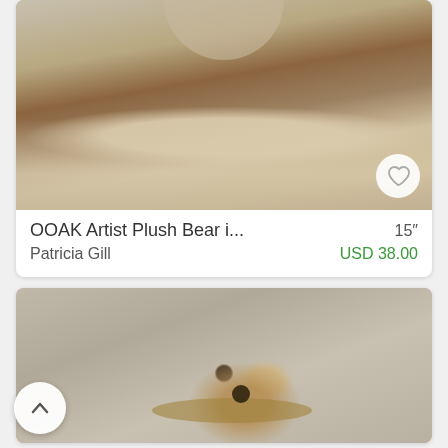[Figure (photo): Product listing photo of an OOAK artist plush bear sitting on a wooden shelf with a crocheted lace doily runner, photographed against a stone/brick wall background. A heart/favorite button is visible in the bottom-right corner of the image.]
OOAK Artist Plush Bear i...    15"
Patricia Gill    USD 38.00
[Figure (photo): Product listing photo showing a close-up of what appears to a small animal or doll figure wearing a straw/burlap hat with a large eye visible, set against a stone wall background.]